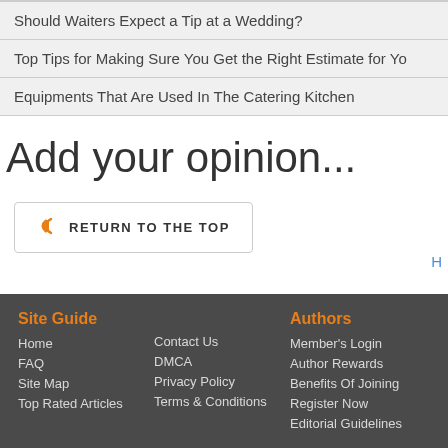Should Waiters Expect a Tip at a Wedding?
Top Tips for Making Sure You Get the Right Estimate for Yo
Equipments That Are Used In The Catering Kitchen
Add your opinion...
RETURN TO THE TOP
H
Site Guide
Home
FAQ
Site Map
Top Rated Articles
Contact Us
DMCA
Privacy Policy
Terms & Conditions
Authors
Member's Login
Author Rewards
Benefits Of Joining
Register Now
Editorial Guidelines